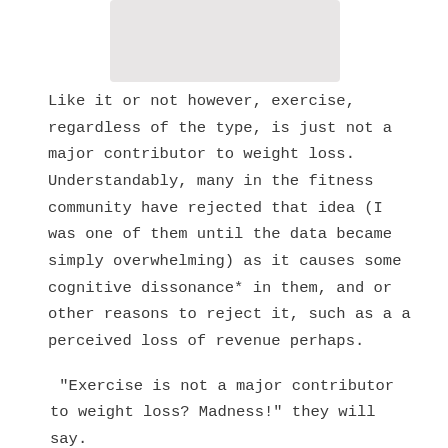[Figure (photo): Partial image visible at top of page, light gray/beige colored, cropped]
Like it or not however, exercise, regardless of the type, is just not a major contributor to weight loss. Understandably, many in the fitness community have rejected that idea (I was one of them until the data became simply overwhelming) as it causes some cognitive dissonance* in them, and or other reasons to reject it, such as a a perceived loss of revenue perhaps.
"Exercise is not a major contributor to weight loss? Madness!" they will say.
Unfortunately, that’s the fact of the matter, and whether I/we like it, science don’t care… Bottom line: A reduction in calorie via dietary changes is far more effective for weight loss then any